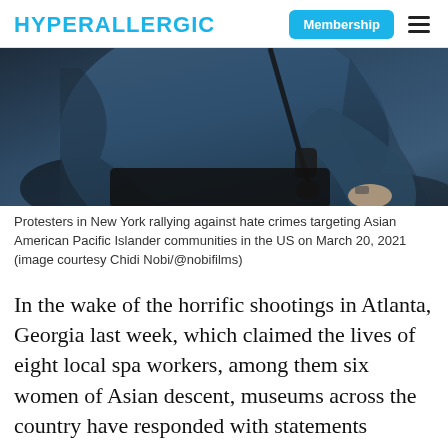HYPERALLERGIC
[Figure (photo): Close-up photo of a person in a blue hoodie holding a camera or pole at a protest rally]
Protesters in New York rallying against hate crimes targeting Asian American Pacific Islander communities in the US on March 20, 2021 (image courtesy Chidi Nobi/@nobifilms)
In the wake of the horrific shootings in Atlanta, Georgia last week, which claimed the lives of eight local spa workers, among them six women of Asian descent, museums across the country have responded with statements denouncing the